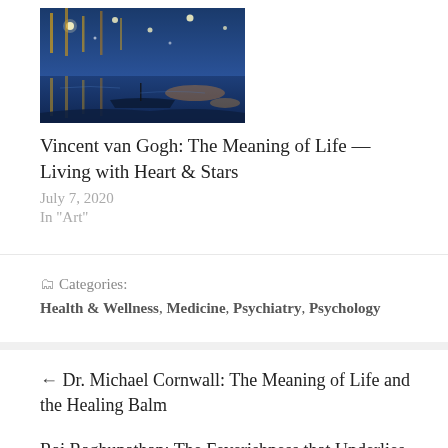[Figure (photo): Van Gogh painting — Starry Night over the Rhone, dark blue night sky reflected in water with golden light streaks, sailboats on a river]
Vincent van Gogh: The Meaning of Life — Living with Heart & Stars
July 7, 2020
In "Art"
Categories: Health & Wellness, Medicine, Psychiatry, Psychology
← Dr. Michael Cornwall: The Meaning of Life and the Healing Balm
Raj Raghunathan: The Feverishness that Underlies the Quest for the Meaning of Life →